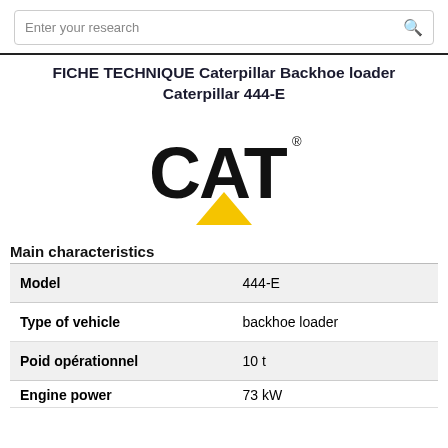Enter your research
FICHE TECHNIQUE Caterpillar Backhoe loader Caterpillar 444-E
[Figure (logo): CAT (Caterpillar) logo — bold black letters C-A-T with a yellow triangle beneath]
Main characteristics
| Model | 444-E |
| Type of vehicle | backhoe loader |
| Poid opérationnel | 10 t |
| Engine power | 73 kW |